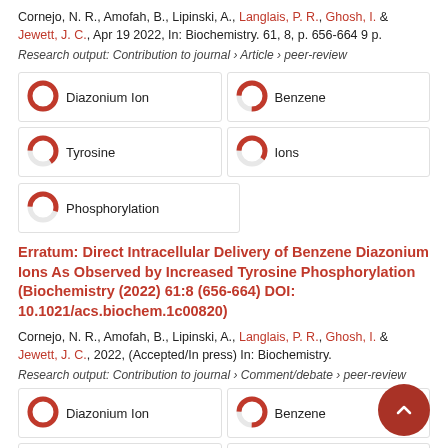Cornejo, N. R., Amofah, B., Lipinski, A., Langlais, P. R., Ghosh, I. & Jewett, J. C., Apr 19 2022, In: Biochemistry. 61, 8, p. 656-664 9 p.
Research output: Contribution to journal › Article › peer-review
[Figure (other): Keyword badges: Diazonium Ion (100%), Benzene (75%), Tyrosine (65%), Ions (60%), Phosphorylation (55%)]
Erratum: Direct Intracellular Delivery of Benzene Diazonium Ions As Observed by Increased Tyrosine Phosphorylation (Biochemistry (2022) 61:8 (656-664) DOI: 10.1021/acs.biochem.1c00820)
Cornejo, N. R., Amofah, B., Lipinski, A., Langlais, P. R., Ghosh, I. & Jewett, J. C., 2022, (Accepted/In press) In: Biochemistry.
Research output: Contribution to journal › Comment/debate › peer-review
[Figure (other): Keyword badges bottom: Diazonium Ion (100%), Benzene (75%), Tyrosine (partial), Phosphorylation (partial)]